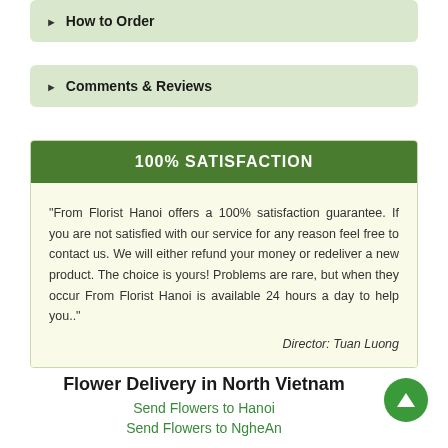How to Order
Comments & Reviews
100% SATISFACTION
"From Florist Hanoi offers a 100% satisfaction guarantee. If you are not satisfied with our service for any reason feel free to contact us. We will either refund your money or redeliver a new product. The choice is yours! Problems are rare, but when they occur From Florist Hanoi is available 24 hours a day to help you.."
Director: Tuan Luong
Flower Delivery in North Vietnam
Send Flowers to Hanoi
Send Flowers to NgheAn